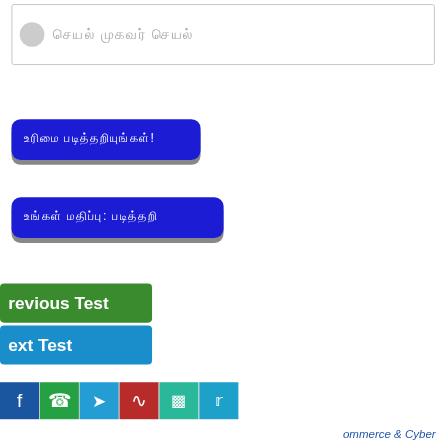[Figure (screenshot): Input box with circle icon and placeholder text in a non-Latin script]
Button: non-Latin script text (blue rounded button with shadow)
Button: non-Latin script text with colon (blue rounded button with shadow)
Previous Test (green button)
Next Test (blue button)
[Figure (screenshot): Social sharing bar with Facebook, WhatsApp, Telegram, RSS, Laptop/Screen, Twitter icons]
ommerce & Cyber